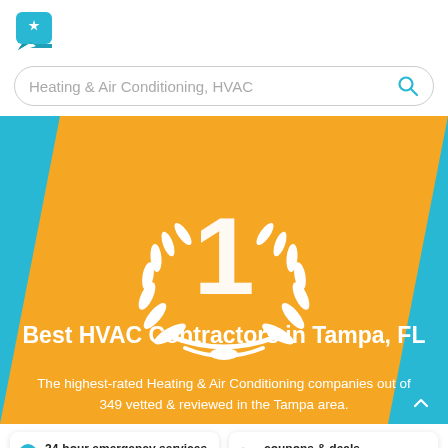[Figure (logo): Teal speech bubble with a white star icon — review/rating site logo]
Heating & Air Conditioning, HVAC
[Figure (illustration): Hero banner with teal background and diagonal orange band, featuring a white number 1 inside a white laurel wreath award badge in the center]
Best HVAC Contractors in Tampa, FL
The highest-rated Heating & Air Conditioning companies out of 349 vetted & reviewed in the Tampa area.
24-hour emergency services
coupons & deals